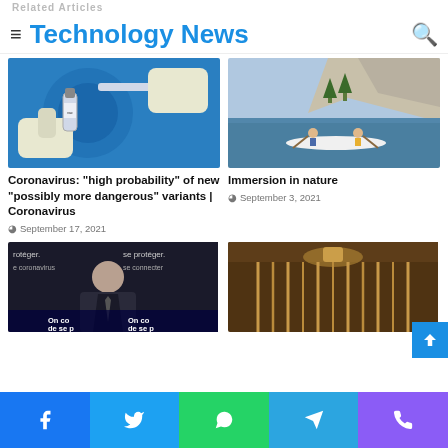Technology News
[Figure (photo): Gloved hands holding a vaccine vial and syringe against a blue background]
Coronavirus: “high probability” of new “possibly more dangerous” variants | Coronavirus
September 17, 2021
[Figure (photo): Two people canoeing on a blue lake with rocky cliffs and trees in the background]
Immersion in nature
September 3, 2021
[Figure (photo): Man in suit speaking at a press conference with French text 'se protéger' and 'On co de se p' visible]
[Figure (photo): Interior wooden cabin or wagon with hanging items visible]